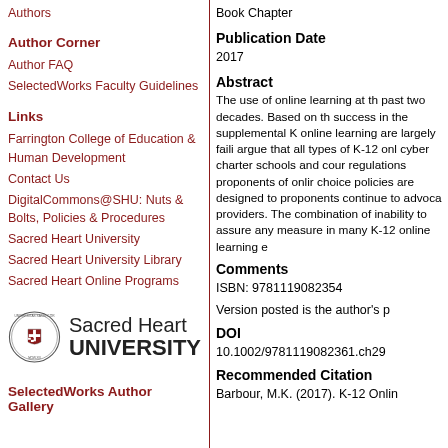Authors
Author Corner
Author FAQ
SelectedWorks Faculty Guidelines
Links
Farrington College of Education & Human Development
Contact Us
DigitalCommons@SHU: Nuts & Bolts, Policies & Procedures
Sacred Heart University
Sacred Heart University Library
Sacred Heart Online Programs
[Figure (logo): Sacred Heart University seal/logo with circular emblem and text 'Sacred Heart UNIVERSITY']
SelectedWorks Author Gallery
Book Chapter
Publication Date
2017
Abstract
The use of online learning at th past two decades. Based on th success in the supplemental K online learning are largely faili argue that all types of K-12 onl cyber charter schools and cour regulations proponents of onlir choice policies are designed to proponents continue to advoca providers. The combination of inability to assure any measure in many K-12 online learning e
Comments
ISBN: 9781119082354
Version posted is the author's p
DOI
10.1002/9781119082361.ch29
Recommended Citation
Barbour, M.K. (2017). K-12 Onlin